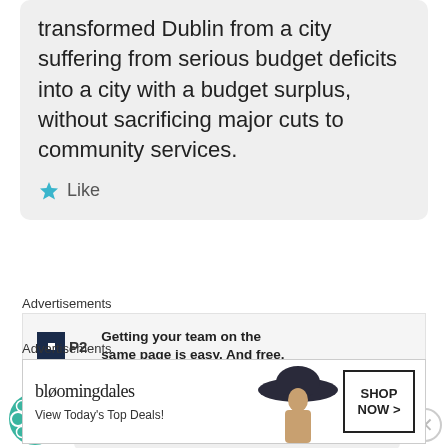transformed Dublin from a city suffering from serious budget deficits into a city with a budget surplus, without sacrificing major cuts to community services.
★ Like
Advertisements
[Figure (screenshot): P2 advertisement banner: logo with dark square icon and 'P2' text, headline 'Getting your team on the same page is easy. And free.']
Anonymous
June 2, 2014 at 4:39 AM
Advertisements
[Figure (screenshot): Bloomingdale's advertisement: 'bloomingdales View Today's Top Deals!' with woman wearing hat and 'SHOP NOW >' button]